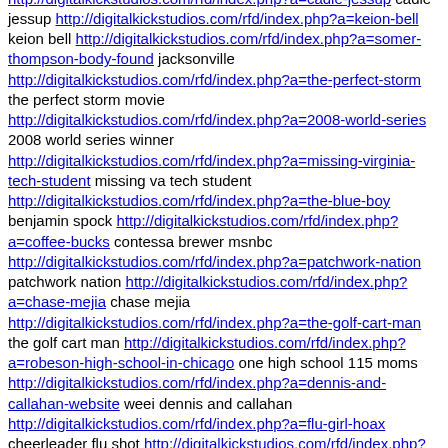a=world-series-tickets world series tickets http://digitalkickstudios.com/rfd/index.php?a=jails jails http://digitalkickstudios.com/rfd/index.php?a=cadie-jessup cadie jessup http://digitalkickstudios.com/rfd/index.php?a=keion-bell keion bell http://digitalkickstudios.com/rfd/index.php?a=somer-thompson-body-found jacksonville http://digitalkickstudios.com/rfd/index.php?a=the-perfect-storm the perfect storm movie http://digitalkickstudios.com/rfd/index.php?a=2008-world-series 2008 world series winner http://digitalkickstudios.com/rfd/index.php?a=missing-virginia-tech-student missing va tech student http://digitalkickstudios.com/rfd/index.php?a=the-blue-boy benjamin spock http://digitalkickstudios.com/rfd/index.php?a=coffee-bucks contessa brewer msnbc http://digitalkickstudios.com/rfd/index.php?a=patchwork-nation patchwork nation http://digitalkickstudios.com/rfd/index.php?a=chase-mejia chase mejia http://digitalkickstudios.com/rfd/index.php?a=the-golf-cart-man the golf cart man http://digitalkickstudios.com/rfd/index.php?a=robeson-high-school-in-chicago one high school 115 moms http://digitalkickstudios.com/rfd/index.php?a=dennis-and-callahan-website weei dennis and callahan http://digitalkickstudios.com/rfd/index.php?a=flu-girl-hoax cheerleader flu shot http://digitalkickstudios.com/rfd/index.php?a=...